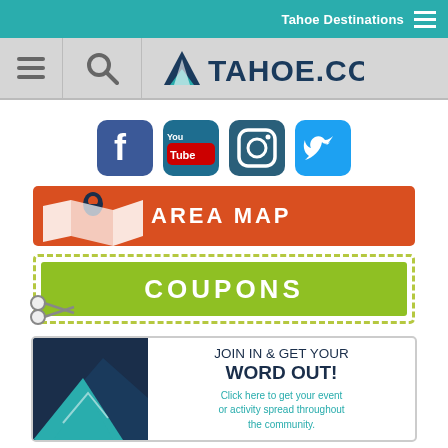Tahoe Destinations
[Figure (screenshot): TAHOE.COM navigation header with hamburger menu icon and search icon]
[Figure (infographic): Social media icons for Facebook, YouTube, Instagram, and Twitter]
[Figure (infographic): AREA MAP banner button in orange with map and location pin icon]
[Figure (infographic): COUPONS banner button in green with dashed border and scissors icon]
[Figure (infographic): JOIN IN & GET YOUR WORD OUT! Click here to get your event or activity spread throughout the community. Banner with Tahoe mountain graphic.]
Weekly Lake Report